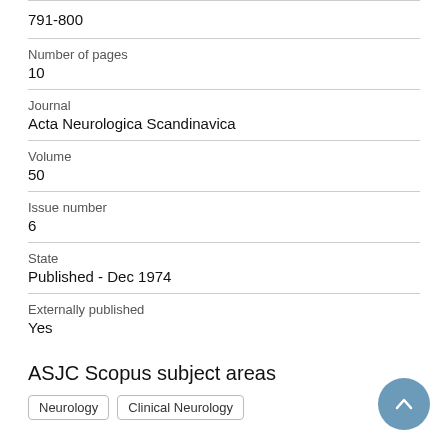791-800
Number of pages
10
Journal
Acta Neurologica Scandinavica
Volume
50
Issue number
6
State
Published - Dec 1974
Externally published
Yes
ASJC Scopus subject areas
Neurology
Clinical Neurology